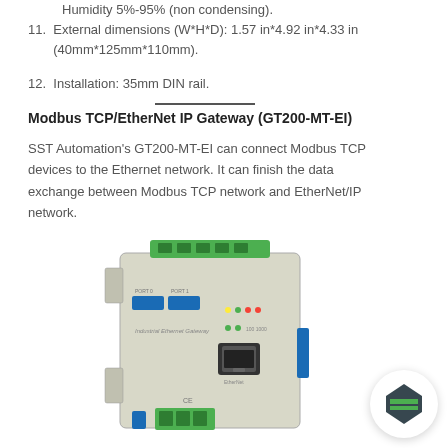Humidity 5%-95% (non condensing).
11. External dimensions (W*H*D): 1.57 in*4.92 in*4.33 in (40mm*125mm*110mm).
12. Installation: 35mm DIN rail.
Modbus TCP/EtherNet IP Gateway (GT200-MT-EI)
SST Automation's GT200-MT-EI can connect Modbus TCP devices to the Ethernet network. It can finish the data exchange between Modbus TCP network and EtherNet/IP network.
[Figure (photo): Photo of the GT200-MT-EI Industrial Ethernet Gateway device — a small gray DIN-rail mounted unit with green terminal connectors on top and bottom, an RJ45 Ethernet port, blue LED indicators, and status labels on the front panel.]